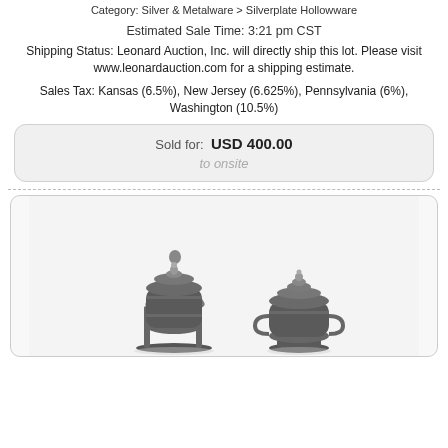Category: Silver & Metalware > Silverplate Hollowware
Estimated Sale Time: 3:21 pm CST
Shipping Status: Leonard Auction, Inc. will directly ship this lot. Please visit www.leonardauction.com for a shipping estimate.
Sales Tax: Kansas (6.5%), New Jersey (6.625%), Pennsylvania (6%), Washington (10.5%)
Sold for: USD 400.00
to onsite
[Figure (photo): Two silverplate hollowware items: a tall ornate water pitcher on a stand with an arched handle, and a shorter covered urn/samovar, both in dark silver plate.]